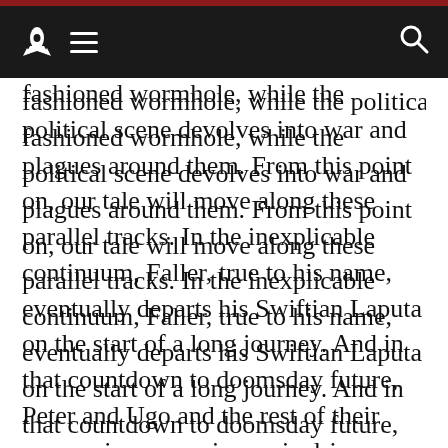[navigation bar with rocket logo, hamburger menu, and search icon]
fashioned wormhole, while the political scene devolves into war and plagues around them. From this point on, our tale will move along these parallel tracks. In the inexplicable continuum, Faller, true to his name, eventually departs his Swiftian Laputa on the start of a long journey. And in that countdown to doomsday future, Peter and Ugo and the rest of their companions experience rivalries, scientific successes and failures, and eventual armageddon, for which the two men both bear some culpability.
I can't legitimately detail as spoilers all of Faller's adventures, nor all of the machinations of Peter and Ugo & Co. As any trained reader will expect, the events of the past era will be shown to lead directly to the reality of the Faller era. But precisely how this happened and what the exact outcome is must remain unrevealed